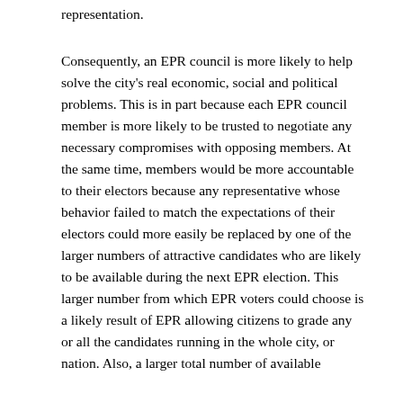representation.
Consequently, an EPR council is more likely to help solve the city's real economic, social and political problems. This is in part because each EPR council member is more likely to be trusted to negotiate any necessary compromises with opposing members. At the same time, members would be more accountable to their electors because any representative whose behavior failed to match the expectations of their electors could more easily be replaced by one of the larger numbers of attractive candidates who are likely to be available during the next EPR election. This larger number from which EPR voters could choose is a likely result of EPR allowing citizens to grade any or all the candidates running in the whole city, or nation. Also, a larger total number of available